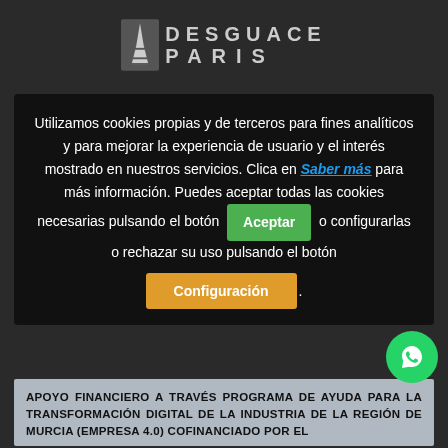[Figure (logo): Desguace Paris logo with Eiffel Tower icon and text 'DESGUACE PARIS']
Utilizamos cookies propias y de terceros para fines analíticos y para mejorar la experiencia de usuario y el interés mostrado en nuestros servicios. Clica en Saber más para más información. Puedes aceptar todas las cookies necesarias pulsando el botón Aceptar o configurarlas o rechazar su uso pulsando el botón Configuración.
APOYO FINANCIERO A TRAVÉS PROGRAMA DE AYUDA PARA LA TRANSFORMACIÓN DIGITAL DE LA INDUSTRIA DE LA REGIÓN DE MURCIA (EMPRESA 4.0) COFINANCIADO POR EL